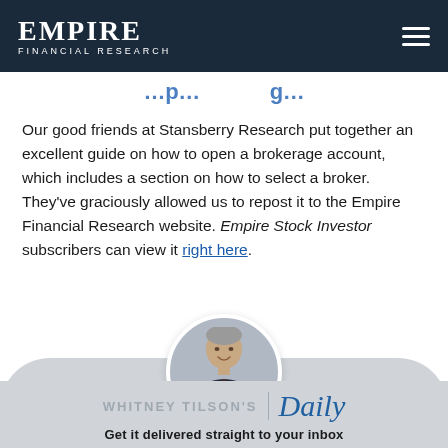EMPIRE FINANCIAL RESEARCH
Our good friends at Stansberry Research put together an excellent guide on how to open a brokerage account, which includes a section on how to select a broker. They've graciously allowed us to repost it to the Empire Financial Research website. Empire Stock Investor subscribers can view it right here.
[Figure (photo): Circular headshot photo of Whitney Tilson, a man with grey hair wearing a dark suit and red tie, smiling, set against a grey curved background section]
WHITNEY TILSON'S | Daily
Get it delivered straight to your inbox